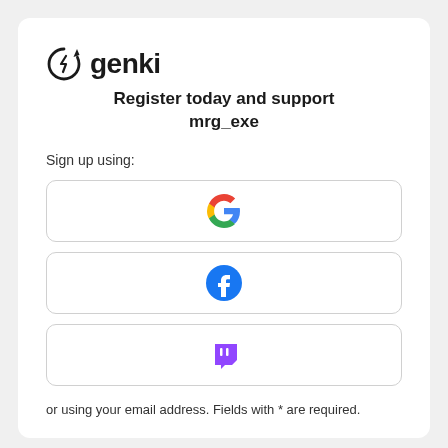genki
Register today and support mrg_exe
Sign up using:
[Figure (logo): Google logo button]
[Figure (logo): Facebook logo button]
[Figure (logo): Twitch logo button]
or using your email address. Fields with * are required.